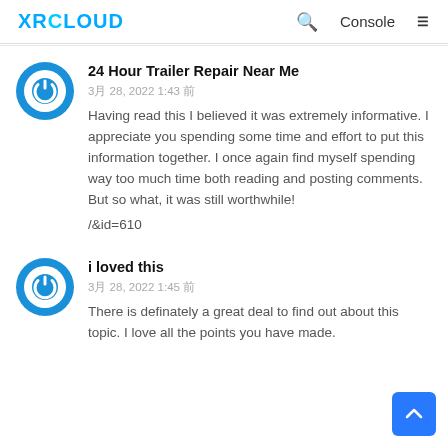XRCLOUD | Console
24 Hour Trailer Repair Near Me
3月 28, 2022 1:43 前
Having read this I believed it was extremely informative. I appreciate you spending some time and effort to put this information together. I once again find myself spending way too much time both reading and posting comments. But so what, it was still worthwhile!
/&id=610
i loved this
3月 28, 2022 1:45 前
There is definately a great deal to find out about this topic. I love all the points you have made.